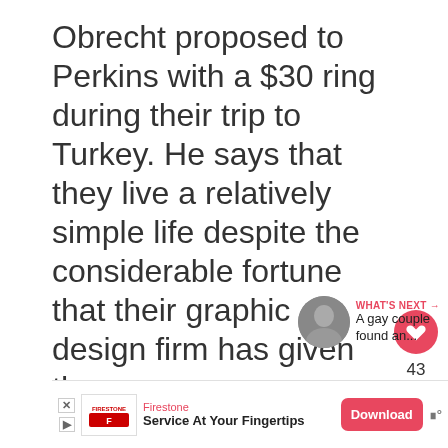Obrecht proposed to Perkins with a $30 ring during their trip to Turkey. He says that they live a relatively simple life despite the considerable fortune that their graphic design firm has given them.
[Figure (screenshot): Social media UI elements: like button (heart icon, red circle), count 43, share button, 'WHAT'S NEXT' panel with thumbnail and text 'A gay couple found an...']
[Figure (screenshot): Advertisement banner: Firestone brand, 'Service At Your Fingertips' text, Download button in red, wifi/signal icon]